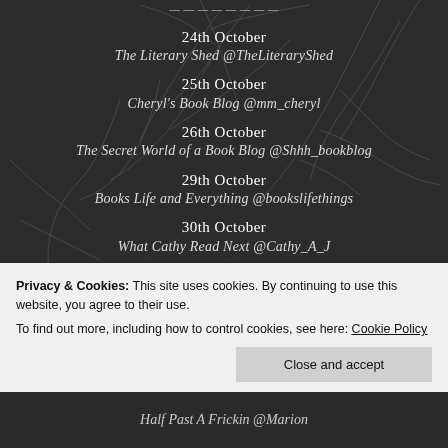[Figure (illustration): Dark background with bare winter tree branches, website screenshot showing a blog tour schedule]
24th October
The Literary Shed @TheLiteraryShed
25th October
Cheryl's Book Blog @mm_cheryl
26th October
The Secret World of a Book Blog @Shhh_bookblog
29th October
Books Life and Everything @bookslifethings
30th October
What Cathy Read Next @Cathy_A_J
31st October
Emmaz Book Blog @corkyorky
Privacy & Cookies: This site uses cookies. By continuing to use this website, you agree to their use.
To find out more, including how to control cookies, see here: Cookie Policy
Close and accept
Half Past A Frickin @Marion